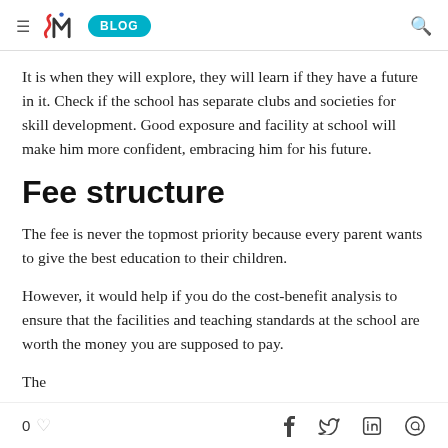≡ [SMI logo] BLOG [search icon]
It is when they will explore, they will learn if they have a future in it. Check if the school has separate clubs and societies for skill development. Good exposure and facility at school will make him more confident, embracing him for his future.
Fee structure
The fee is never the topmost priority because every parent wants to give the best education to their children.
However, it would help if you do the cost-benefit analysis to ensure that the facilities and teaching standards at the school are worth the money you are supposed to pay.
The…
0 ♡  f  𝕏  in  WhatsApp